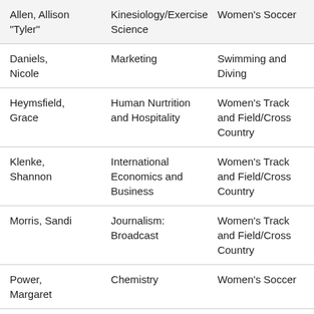| Allen, Allison "Tyler" | Kinesiology/Exercise Science | Women's Soccer |
| Daniels, Nicole | Marketing | Swimming and Diving |
| Heymsfield, Grace | Human Nurtrition and Hospitality | Women's Track and Field/Cross Country |
| Klenke, Shannon | International Economics and Business | Women's Track and Field/Cross Country |
| Morris, Sandi | Journalism: Broadcast | Women's Track and Field/Cross Country |
| Power, Margaret | Chemistry | Women's Soccer |